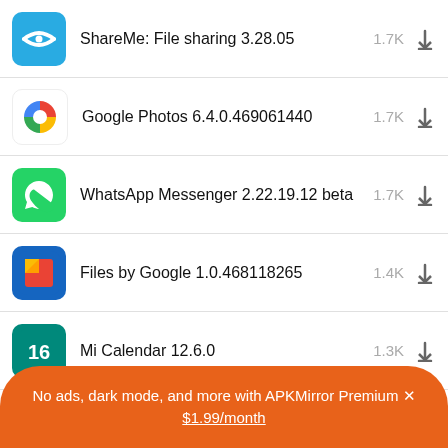ShareMe: File sharing 3.28.05 — 1.7K downloads
Google Photos 6.4.0.469061440 — 1.7K downloads
WhatsApp Messenger 2.22.19.12 beta — 1.7K downloads
Files by Google 1.0.468118265 — 1.4K downloads
Mi Calendar 12.6.0 — 1.3K downloads
WhatsApp Messenger 2.22.18.75 — 972 downloads
No ads, dark mode, and more with APKMirror Premium × $1.99/month